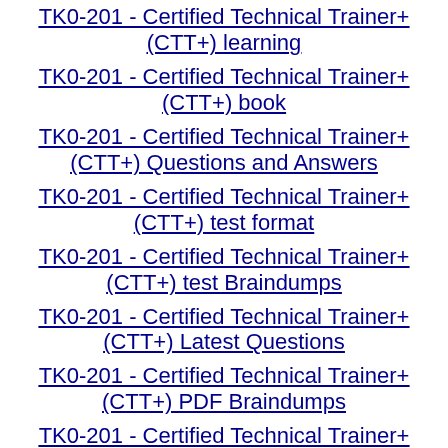TK0-201 - Certified Technical Trainer+ (CTT+) learning
TK0-201 - Certified Technical Trainer+ (CTT+) book
TK0-201 - Certified Technical Trainer+ (CTT+) Questions and Answers
TK0-201 - Certified Technical Trainer+ (CTT+) test format
TK0-201 - Certified Technical Trainer+ (CTT+) test Braindumps
TK0-201 - Certified Technical Trainer+ (CTT+) Latest Questions
TK0-201 - Certified Technical Trainer+ (CTT+) PDF Braindumps
TK0-201 - Certified Technical Trainer+ (CTT+) learning
TK0-201 - Certified Technical Trainer+